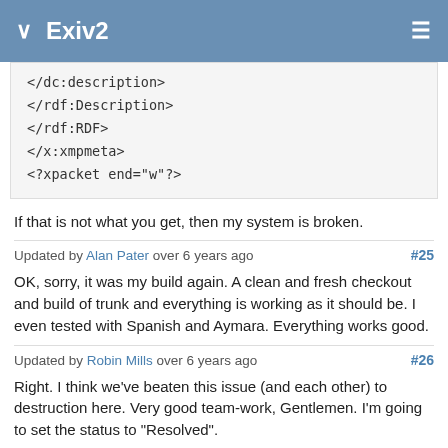Exiv2
</dc:description>
   </rdf:Description>
  </rdf:RDF>
 </x:xmpmeta>
<?xpacket end="w"?>
If that is not what you get, then my system is broken.
Updated by Alan Pater over 6 years ago  #25
OK, sorry, it was my build again. A clean and fresh checkout and build of trunk and everything is working as it should be. I even tested with Spanish and Aymara. Everything works good.
Updated by Robin Mills over 6 years ago  #26
Right. I think we've beaten this issue (and each other) to destruction here. Very good team-work, Gentlemen. I'm going to set the status to "Resolved".
"Resolved" means we intend no further work on this. However should something arise, it'll be assigned for further activity. During review prior to shipping it will be set to "Closed" and never opened